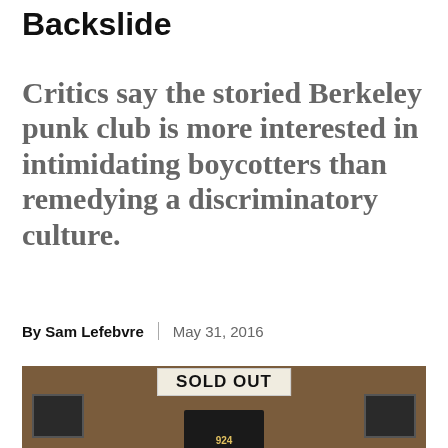Backslide
Critics say the storied Berkeley punk club is more interested in intimidating boycotters than remedying a discriminatory culture.
By Sam Lefebvre | May 31, 2016
[Figure (photo): Exterior of a brick building with a 'SOLD OUT' banner sign above a dark doorway showing the number 924]